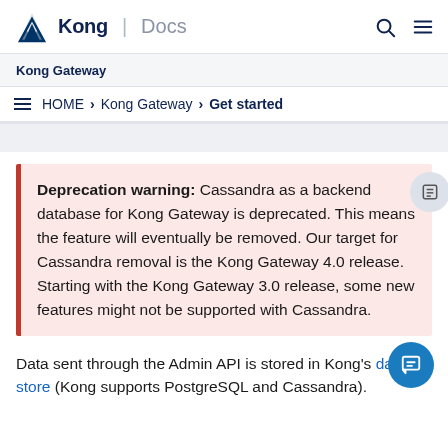Kong | Docs
Kong Gateway
HOME > Kong Gateway > Get started
Deprecation warning: Cassandra as a backend database for Kong Gateway is deprecated. This means the feature will eventually be removed. Our target for Cassandra removal is the Kong Gateway 4.0 release. Starting with the Kong Gateway 3.0 release, some new features might not be supported with Cassandra.
Data sent through the Admin API is stored in Kong's data store (Kong supports PostgreSQL and Cassandra).